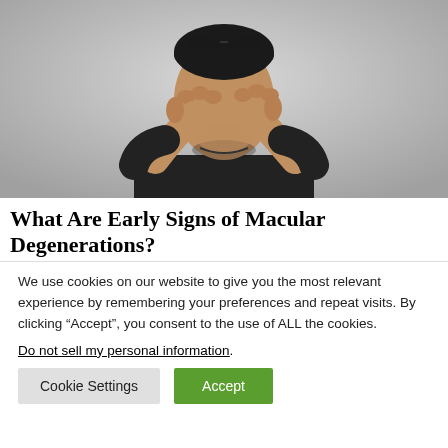[Figure (photo): Man rubbing his eyes with both fists, wearing a dark shirt, glasses on top of his head, against a light grey background.]
What Are Early Signs of Macular Degenerations?
We use cookies on our website to give you the most relevant experience by remembering your preferences and repeat visits. By clicking “Accept”, you consent to the use of ALL the cookies.
Do not sell my personal information.